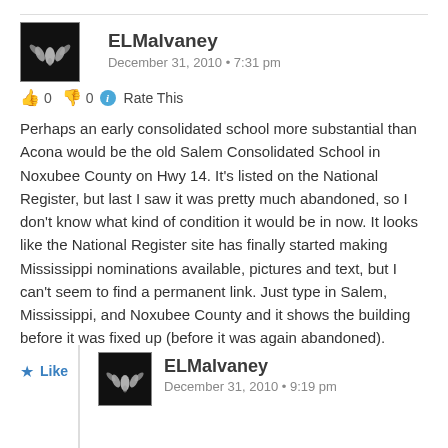[Figure (photo): Avatar image of ELMalvaney — dark background with white leaf/flower design]
ELMalvaney
December 31, 2010 • 7:31 pm
👍 0 👎 0 ℹ Rate This
Perhaps an early consolidated school more substantial than Acona would be the old Salem Consolidated School in Noxubee County on Hwy 14. It's listed on the National Register, but last I saw it was pretty much abandoned, so I don't know what kind of condition it would be in now. It looks like the National Register site has finally started making Mississippi nominations available, pictures and text, but I can't seem to find a permanent link. Just type in Salem, Mississippi, and Noxubee County and it shows the building before it was fixed up (before it was again abandoned).
★ Like
[Figure (photo): Avatar image of ELMalvaney — dark background with white leaf/flower design (nested reply)]
ELMalvaney
December 31, 2010 • 9:19 pm